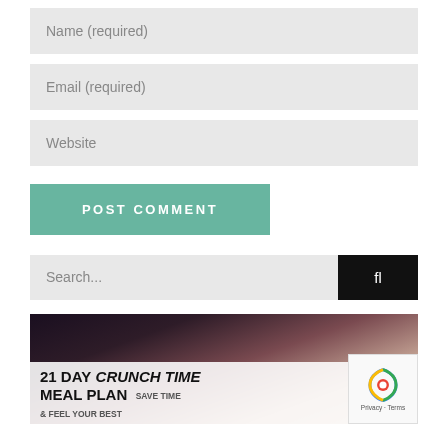Name (required)
Email (required)
Website
POST COMMENT
Search...
[Figure (photo): Blog post thumbnail showing woman in floral dress with text '21 DAY CRUNCH TIME MEAL PLAN SAVE TIME']